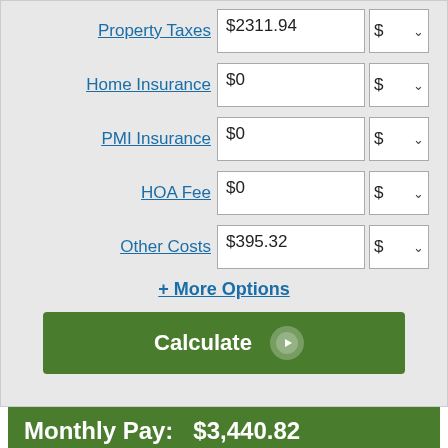| Field | Value | Unit |
| --- | --- | --- |
| Property Taxes | $2311.94 | $ ▾ |
| Home Insurance | $0 | $ ▾ |
| PMI Insurance | $0 | $ ▾ |
| HOA Fee | $0 | $ ▾ |
| Other Costs | $395.32 | $ ▾ |
+ More Options
Calculate
Monthly Pay:   $3,440.82
|  | Monthly | Total |
| --- | --- | --- |
| Mortgage Payment | $3,440.82 | $1,032,245.53 |
| Property Tax | $192.66 | $57,798.50 |
| Other Costs | $32.94 | $9,882.80 |